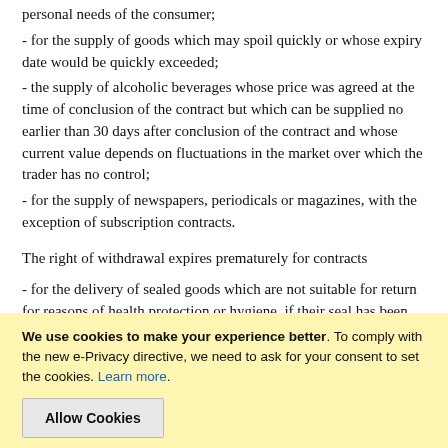personal needs of the consumer;
- for the supply of goods which may spoil quickly or whose expiry date would be quickly exceeded;
- the supply of alcoholic beverages whose price was agreed at the time of conclusion of the contract but which can be supplied no earlier than 30 days after conclusion of the contract and whose current value depends on fluctuations in the market over which the trader has no control;
- for the supply of newspapers, periodicals or magazines, with the exception of subscription contracts.
The right of withdrawal expires prematurely for contracts
- for the delivery of sealed goods which are not suitable for return for reasons of health protection or hygiene, if their seal has been removed after delivery;
- for the delivery of goods if they have been inseparably mixed with other goods after delivery because of their nature;
We use cookies to make your experience better. To comply with the new e-Privacy directive, we need to ask for your consent to set the cookies. Learn more.
Allow Cookies